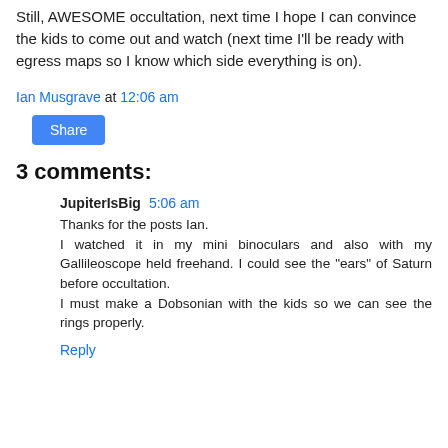Still, AWESOME occultation, next time I hope I can convince the kids to come out and watch (next time I'll be ready with egress maps so I know which side everything is on).
Ian Musgrave at 12:06 am
Share
3 comments:
JupiterIsBig  5:06 am
Thanks for the posts Ian.
I watched it in my mini binoculars and also with my Gallileoscope held freehand. I could see the "ears" of Saturn before occultation.
I must make a Dobsonian with the kids so we can see the rings properly.
Reply